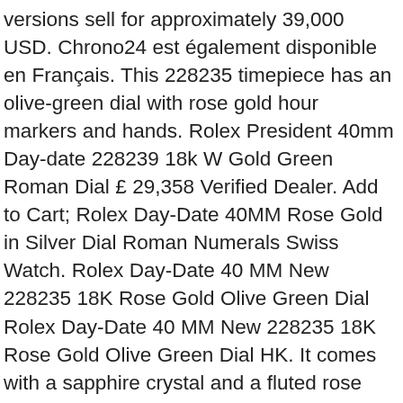versions sell for approximately 39,000 USD. Chrono24 est également disponible en Français. This 228235 timepiece has an olive-green dial with rose gold hour markers and hands. Rolex President 40mm Day-date 228239 18k W Gold Green Roman Dial £ 29,358 Verified Dealer. Add to Cart; Rolex Day-Date 40MM Rose Gold in Silver Dial Roman Numerals Swiss Watch. Rolex Day-Date 40 MM New 228235 18K Rose Gold Olive Green Dial Rolex Day-Date 40 MM New 228235 18K Rose Gold Olive Green Dial HK. It comes with a sapphire crystal and a fluted rose gold bezel. Rolex Presidential Day-Date 40mm Rose Gold Olive Green Dial... Rolex Day-Date 18K Rose Gold Chocolate 40mm Dial 228235, Rolex 228235 wrp Day-Date 40 18K Rose Gold Men's Watch, Rolex 228235 Day Date 18k Rose Gold Roman Chocolate Dial Watch, Rolex